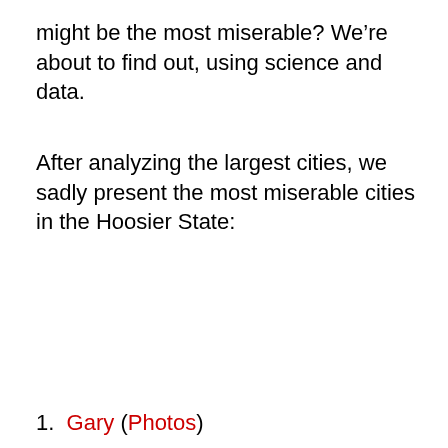might be the most miserable? We're about to find out, using science and data.
After analyzing the largest cities, we sadly present the most miserable cities in the Hoosier State:
1. Gary (Photos)